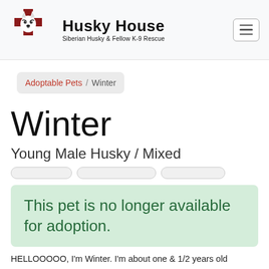[Figure (logo): Husky House logo with a Siberian Husky on a red cross, text reads Husky House and Siberian Husky & Fellow K-9 Rescue]
Adoptable Pets / Winter
Winter
Young Male Husky / Mixed
This pet is no longer available for adoption.
HELLOOOOO, I'm Winter. I'm about one & 1/2 years old